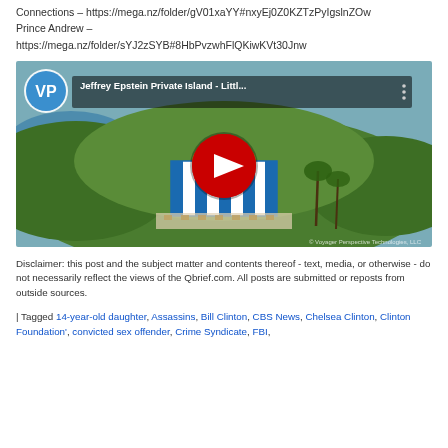Connections – https://mega.nz/folder/gV01xaYY#nxyEj0Z0KZTzPyIgslnZOw
Prince Andrew  –
https://mega.nz/folder/sYJ2zSYB#8HbPvzwhFlQKiwKVt30Jnw
[Figure (screenshot): YouTube video thumbnail: 'Jeffrey Epstein Private Island - Littl...' showing aerial view of Little Saint James island with gold dome building, VP (Voyager Perspective) logo in top left, red YouTube play button in center.]
Disclaimer: this post and the subject matter and contents thereof - text, media, or otherwise - do not necessarily reflect the views of the Qbrief.com. All posts are submitted or reposts from outside sources.
| Tagged 14-year-old daughter, Assassins, Bill Clinton, CBS News, Chelsea Clinton, Clinton Foundation', convicted sex offender, Crime Syndicate, FBI,